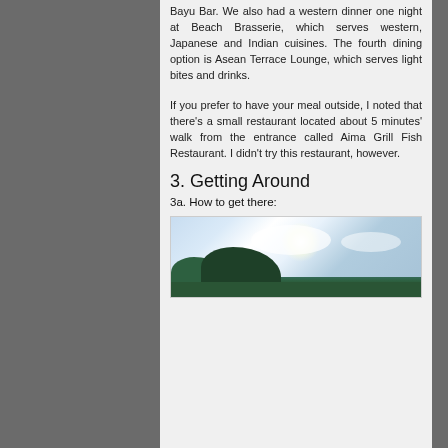Bayu Bar. We also had a western dinner one night at Beach Brasserie, which serves western, Japanese and Indian cuisines. The fourth dining option is Asean Terrace Lounge, which serves light bites and drinks.
If you prefer to have your meal outside, I noted that there's a small restaurant located about 5 minutes' walk from the entrance called Aima Grill Fish Restaurant. I didn't try this restaurant, however.
3. Getting Around
3a. How to get there:
[Figure (photo): Outdoor scenic photo showing a hillside with green trees against a bright sky with clouds and sun glare]